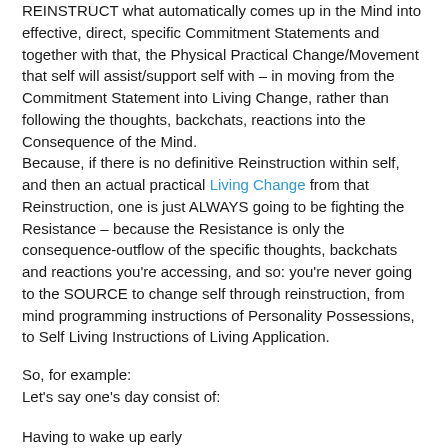REINSTRUCT what automatically comes up in the Mind into effective, direct, specific Commitment Statements and together with that, the Physical Practical Change/Movement that self will assist/support self with – in moving from the Commitment Statement into Living Change, rather than following the thoughts, backchats, reactions into the Consequence of the Mind.
Because, if there is no definitive Reinstruction within self, and then an actual practical Living Change from that Reinstruction, one is just ALWAYS going to be fighting the Resistance – because the Resistance is only the consequence-outflow of the specific thoughts, backchats and reactions you're accessing, and so: you're never going to the SOURCE to change self through reinstruction, from mind programming instructions of Personality Possessions, to Self Living Instructions of Living Application.
So, for example:
Let's say one's day consist of:
Having to wake up early
Going to work